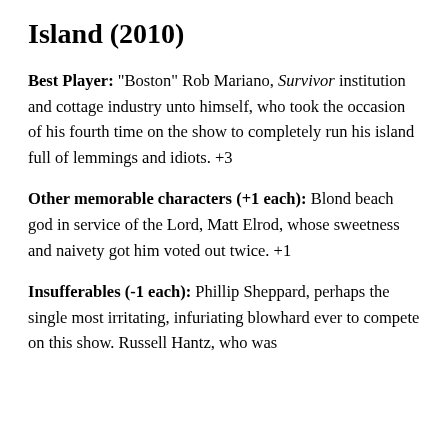Island (2010)
Best Player: "Boston" Rob Mariano, Survivor institution and cottage industry unto himself, who took the occasion of his fourth time on the show to completely run his island full of lemmings and idiots. +3
Other memorable characters (+1 each): Blond beach god in service of the Lord, Matt Elrod, whose sweetness and naivety got him voted out twice. +1
Insufferables (-1 each): Phillip Sheppard, perhaps the single most irritating, infuriating blowhard ever to compete on this show. Russell Hantz, who was